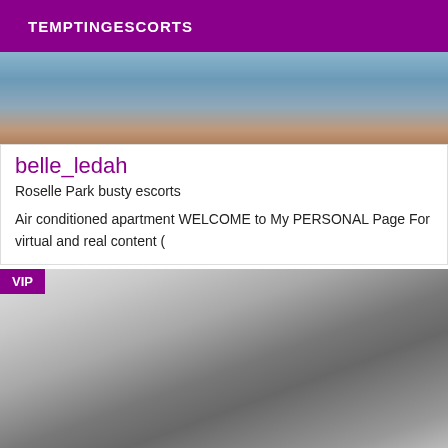TEMPTINGESCORTS
[Figure (photo): Partial photo of a person in blue clothing, cropped at the top]
belle_ledah
Roselle Park busty escorts
Air conditioned apartment WELCOME to My PERSONAL Page For virtual and real content (
[Figure (photo): Black and white photo of a woman with long hair, wearing a corset, arm raised, with a VIP badge overlay]